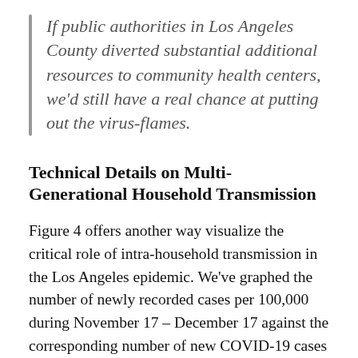If public authorities in Los Angeles County diverted substantial additional resources to community health centers, we'd still have a real chance at putting out the virus-flames.
Technical Details on Multi-Generational Household Transmission
Figure 4 offers another way visualize the critical role of intra-household transmission in the Los Angeles epidemic. We've graphed the number of newly recorded cases per 100,000 during November 17 – December 17 against the corresponding number of new COVID-19 cases